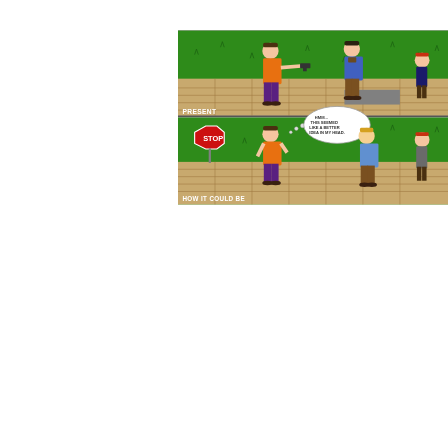[Figure (illustration): A two-panel cartoon illustration. The top panel is labeled 'PRESENT' and shows a mugging scene: a person in an orange shirt pointing a gun at another person who is holding a wallet/phone, set on a sidewalk with green grass and vegetation in the background. Another red-haired person crouches in the background. The bottom panel is labeled 'HOW IT COULD BE' and shows the same scene but the mugger is now unarmed, standing facing a person in a blue shirt, with a thought bubble reading 'HMM... THIS SEEMED LIKE A BETTER IDEA IN MY HEAD.' A red STOP sign is visible on the left. The red-haired person stands in the background.]